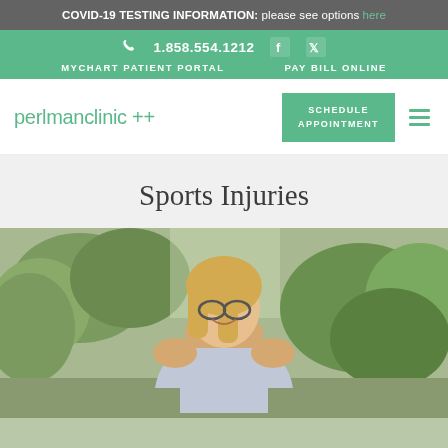COVID-19 TESTING INFORMATION: please see options here
1.858.554.1212
MYCHART PATIENT PORTAL  PAY BILL ONLINE
[Figure (logo): Perlman Clinic logo with green text reading 'perlmanclinic ++']
SCHEDULE APPOINTMENT
Sports Injuries
[Figure (photo): Woman with blonde hair and glasses smiling outdoors in front of green trees and bushes]